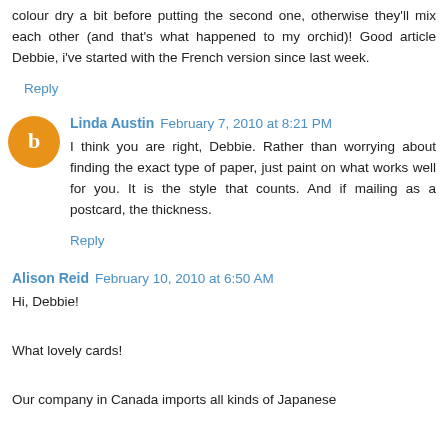colour dry a bit before putting the second one, otherwise they'll mix each other (and that's what happened to my orchid)! Good article Debbie, i've started with the French version since last week.
Reply
Linda Austin  February 7, 2010 at 8:21 PM
I think you are right, Debbie. Rather than worrying about finding the exact type of paper, just paint on what works well for you. It is the style that counts. And if mailing as a postcard, the thickness.
Reply
Alison Reid  February 10, 2010 at 6:50 AM
Hi, Debbie!
What lovely cards!
Our company in Canada imports all kinds of Japanese